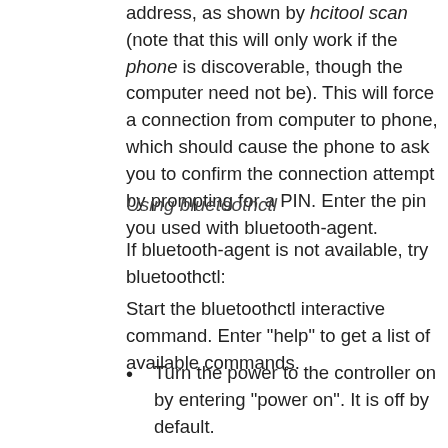address, as shown by hcitool scan (note that this will only work if the phone is discoverable, though the computer need not be). This will force a connection from computer to phone, which should cause the phone to ask you to confirm the connection attempt by prompting for a PIN. Enter the pin you used with bluetooth-agent.
Using bluetoothctl
If bluetooth-agent is not available, try bluetoothctl:
Start the bluetoothctl interactive command. Enter "help" to get a list of available commands.
Turn the power to the controller on by entering "power on". It is off by default.
Enter "devices" to get the MAC Address of the device with which to pair.
Enter device pairing command with "become"